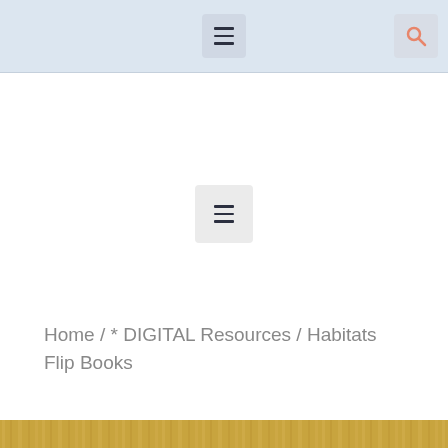Navigation header with hamburger menu and search icon
[Figure (screenshot): Hamburger menu icon button in center of page body area]
Home / * DIGITAL Resources / Habitats Flip Books
[Figure (photo): Golden/wood-textured strip at bottom of page]